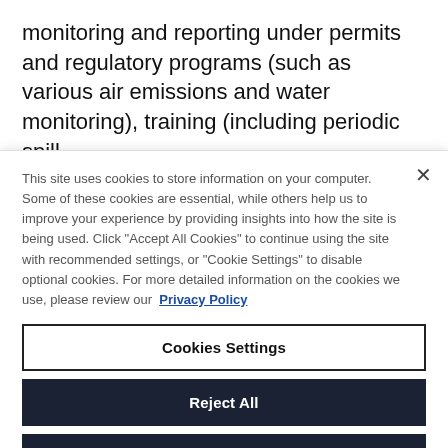monitoring and reporting under permits and regulatory programs (such as various air emissions and water monitoring), training (including periodic spill
This site uses cookies to store information on your computer. Some of these cookies are essential, while others help us to improve your experience by providing insights into how the site is being used. Click "Accept All Cookies" to continue using the site with recommended settings, or "Cookie Settings" to disable optional cookies. For more detailed information on the cookies we use, please review our Privacy Policy
Cookies Settings
Reject All
Accept All Cookies